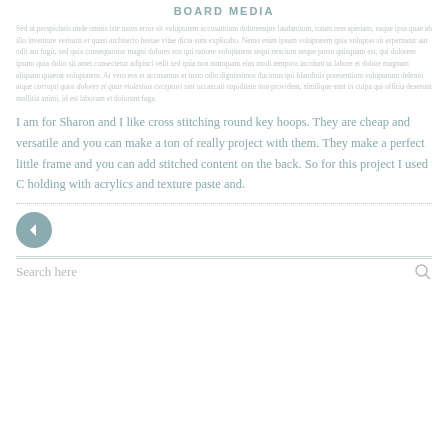BOARD MEDIA
faded/background repeated text block (website navigation/article preview text, faded)
I am for Sharon and I like cross stitching round key hoops. They are cheap and versatile and you can make a ton of really project with them. They make a perfect little frame and you can add stitched content on the back. So for this project I used C holding with acrylics and texture paste and.
Search here